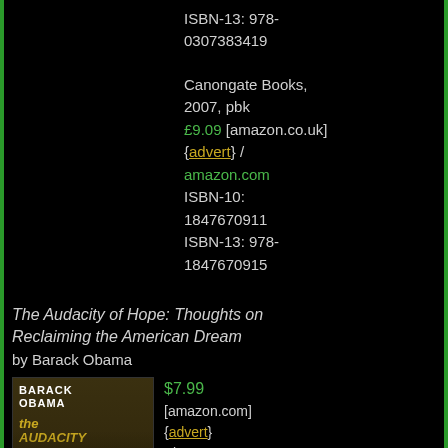ISBN-13: 978-0307383419
Canongate Books, 2007, pbk £9.09 [amazon.co.uk] {advert} / amazon.com ISBN-10: 1847670911 ISBN-13: 978-1847670915
The Audacity of Hope: Thoughts on Reclaiming the American Dream by Barack Obama
[Figure (illustration): Book cover of The Audacity of Hope by Barack Obama showing Obama in a suit on a dark background with gold title text]
$7.99 [amazon.com] {advert} Vintage, 2008, pbk ISBN-10: 0307455874 ISBN-13: 978-